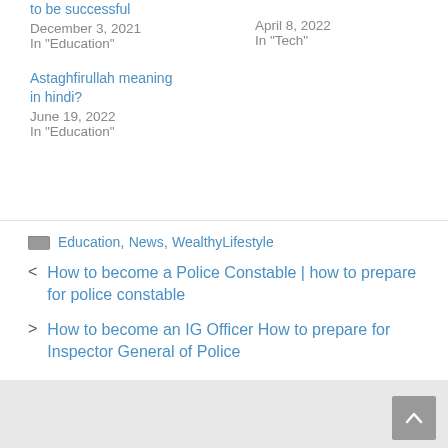to be successful
December 3, 2021
In "Education"
April 8, 2022
In "Tech"
Astaghfirullah meaning in hindi?
June 19, 2022
In "Education"
Education, News, WealthyLifestyle
How to become a Police Constable | how to prepare for police constable
How to become an IG Officer How to prepare for Inspector General of Police